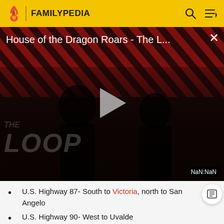FAMILYPEDIA
[Figure (screenshot): Video thumbnail for 'House of the Dragon Roars - The L...' with diagonal red/black striped background, silhouetted figures, play button, THE LOOP text, and NaN:NaN time badge]
U.S. Highway 87- South to Victoria, north to San Angelo
U.S. Highway 90- West to Uvalde
U.S. Highway 181- South to Beeville